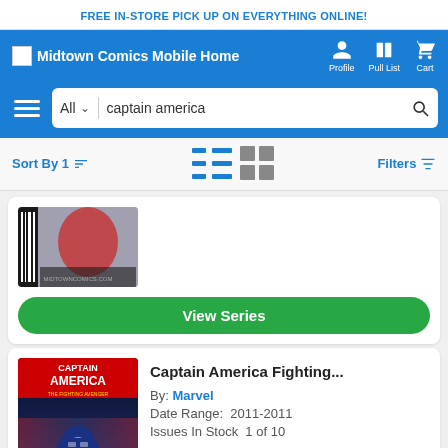FREE IN-STORE PICK UP ON EVERYTHING ONLINE!
Midtown Comics Mobile Home
Profile  Pull List  Cart
[Figure (screenshot): Search bar with All dropdown and captain america search text]
Sort By 1  Filters
[Figure (illustration): Partial comic book cover thumbnail]
View Series
Captain America Fighting...
By: Marvel
Date Range: 2011-2011
Issues In Stock 1 of 10
[Figure (illustration): Captain America: The Fighting Avenger comic book cover showing Captain America in costume]
View Series